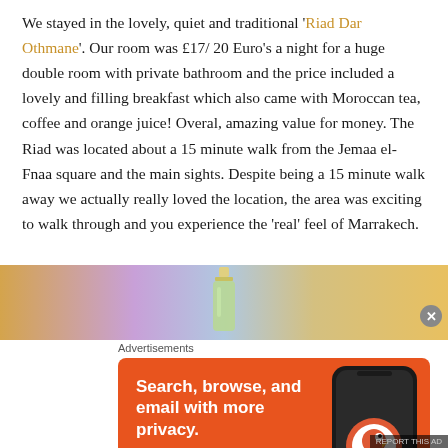We stayed in the lovely, quiet and traditional 'Riad Dar Othmane'. Our room was £17/ 20 Euro's a night for a huge double room with private bathroom and the price included a lovely and filling breakfast which also came with Moroccan tea, coffee and orange juice! Overal, amazing value for money. The Riad was located about a 15 minute walk from the Jemaa el-Fnaa square and the main sights. Despite being a 15 minute walk away we actually really loved the location, the area was exciting to walk through and you experience the 'real' feel of Marrakech.
[Figure (photo): Partial banner advertisement with colorful gradient background showing a bottle, with a close (X) button overlay]
Advertisements
[Figure (screenshot): DuckDuckGo advertisement on orange background. Text reads: Search, browse, and email with more privacy. All in One Free App. Shows a phone with DuckDuckGo logo.]